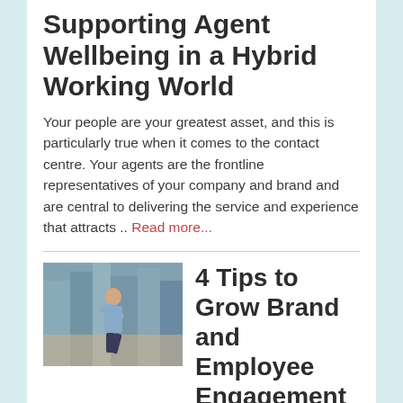Supporting Agent Wellbeing in a Hybrid Working World
Your people are your greatest asset, and this is particularly true when it comes to the contact centre. Your agents are the frontline representatives of your company and brand and are central to delivering the service and experience that attracts .. Read more...
[Figure (photo): Person in a hallway or office corridor, appearing to stretch or dance, wearing a light blue jacket and dark trousers]
4 Tips to Grow Brand and Employee Engagement in Your Contact Centre